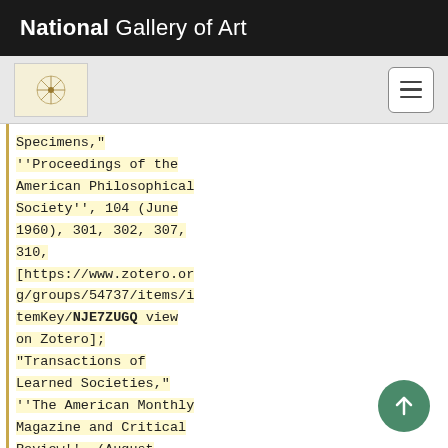National Gallery of Art
Specimens," ''Proceedings of the American Philosophical Society'', 104 (June 1960), 301, 302, 307, 310, [https://www.zotero.org/groups/54737/items/itemKey/NJE7ZUGQ view on Zotero]; "Transactions of Learned Societies," ''The American Monthly Magazine and Critical Review'', (August 1817), 1: 287; see also 47,